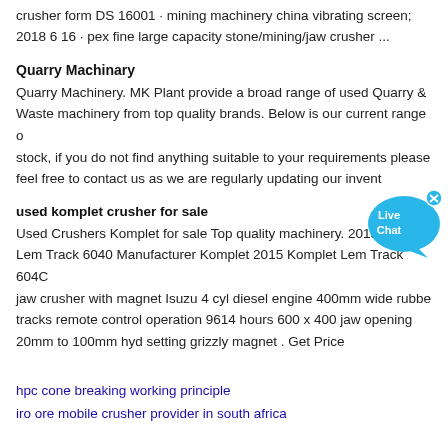crusher form DS 16001 · mining machinery china vibrating screen; 2018 6 16 · pex fine large capacity stone/mining/jaw crusher ...
Quarry Machinary
Quarry Machinery. MK Plant provide a broad range of used Quarry & Waste machinery from top quality brands. Below is our current range of stock, if you do not find anything suitable to your requirements please feel free to contact us as we are regularly updating our inventory.
used komplet crusher for sale
Used Crushers Komplet for sale Top quality machinery. 2015 Komplet Lem Track 6040 Manufacturer Komplet 2015 Komplet Lem Track 6040 jaw crusher with magnet Isuzu 4 cyl diesel engine 400mm wide rubber tracks remote control operation 9614 hours 600 x 400 jaw opening 20mm to 100mm hyd setting grizzly magnet . Get Price
hpc cone breaking working principle
iro ore mobile crusher provider in south africa